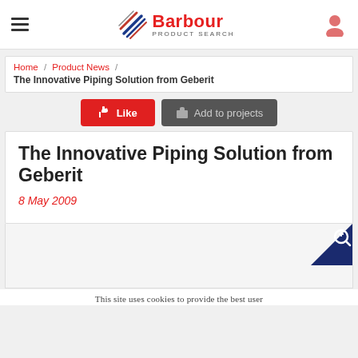Barbour Product Search
Home / Product News / The Innovative Piping Solution from Geberit
Like | Add to projects
The Innovative Piping Solution from Geberit
8 May 2009
[Figure (photo): Product image with zoom icon in top-right corner]
This site uses cookies to provide the best user